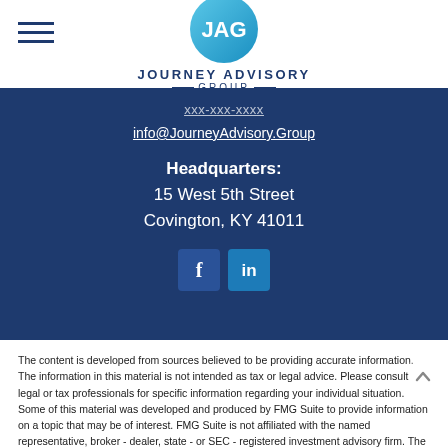[Figure (logo): Journey Advisory Group circular logo with JAG letters and blue gradient, with company name below]
info@JourneyAdvisory.Group
Headquarters:
15 West 5th Street
Covington, KY 41011
[Figure (illustration): Facebook and LinkedIn social media icon buttons]
The content is developed from sources believed to be providing accurate information. The information in this material is not intended as tax or legal advice. Please consult legal or tax professionals for specific information regarding your individual situation. Some of this material was developed and produced by FMG Suite to provide information on a topic that may be of interest. FMG Suite is not affiliated with the named representative, broker - dealer, state - or SEC - registered investment advisory firm. The opinions expressed and material provided are for general information, and should not be considered a solicitation for the purchase or sale of any security.